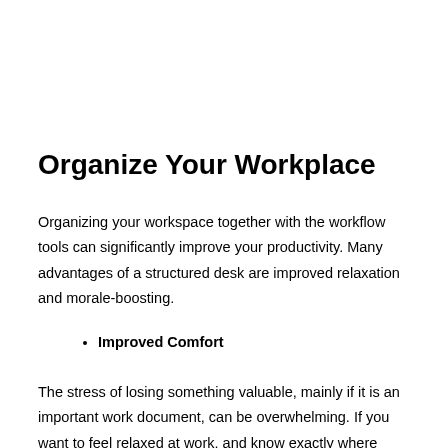Organize Your Workplace
Organizing your workspace together with the workflow tools can significantly improve your productivity. Many advantages of a structured desk are improved relaxation and morale-boosting.
Improved Comfort
The stress of losing something valuable, mainly if it is an important work document, can be overwhelming. If you want to feel relaxed at work, and know exactly where